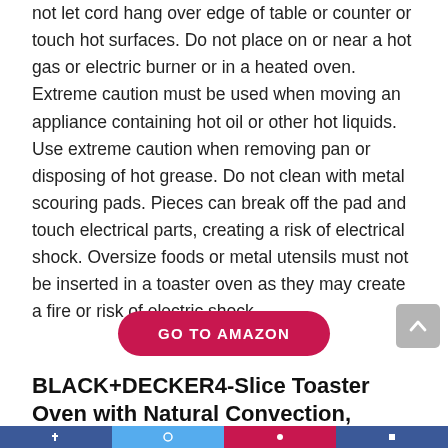not let cord hang over edge of table or counter or touch hot surfaces. Do not place on or near a hot gas or electric burner or in a heated oven. Extreme caution must be used when moving an appliance containing hot oil or other hot liquids. Use extreme caution when removing pan or disposing of hot grease. Do not clean with metal scouring pads. Pieces can break off the pad and touch electrical parts, creating a risk of electrical shock. Oversize foods or metal utensils must not be inserted in a toaster oven as they may create a fire or risk of electric shock.
[Figure (other): GO TO AMAZON button (red pill-shaped button with white text) and a gray scroll-to-top arrow button]
BLACK+DECKER4-Slice Toaster Oven with Natural Convection, Stainless Steel, TO1760SS
Social sharing bar with icons